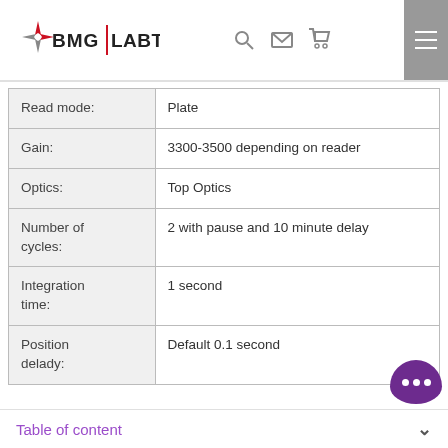BMG LABTECH
| Parameter | Value |
| --- | --- |
| Read mode: | Plate |
| Gain: | 3300-3500 depending on reader |
| Optics: | Top Optics |
| Number of cycles: | 2 with pause and 10 minute delay |
| Integration time: | 1 second |
| Position delady: | Default 0.1 second |
Table of content